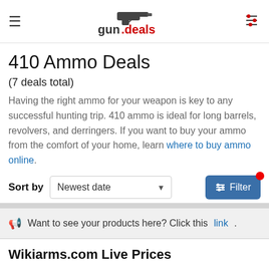gun.deals — header with hamburger menu and filter icon
410 Ammo Deals
(7 deals total)
Having the right ammo for your weapon is key to any successful hunting trip. 410 ammo is ideal for long barrels, revolvers, and derringers. If you want to buy your ammo from the comfort of your home, learn where to buy ammo online.
Sort by Newest date Filter
📢 Want to see your products here? Click this link.
Wikiarms.com Live Prices